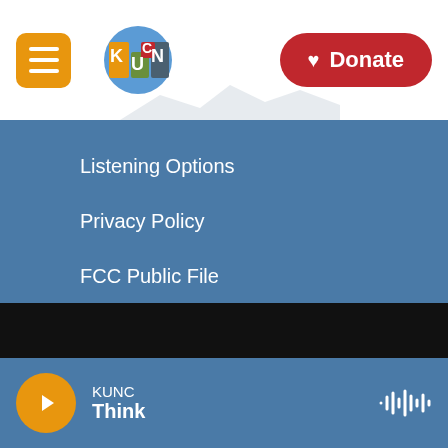KUNC - Donate
Listening Options
Privacy Policy
FCC Public File
Contact Us
Manage Your Membership
Colorado Sound
KUNC Think